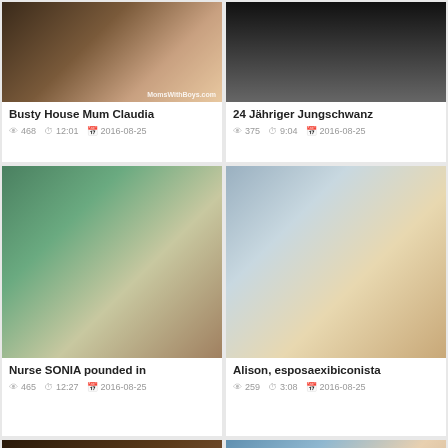[Figure (screenshot): Video thumbnail - Busty House Mum Claudia]
Busty House Mum Claudia
👁 468  🕐 12:01  📅 2016-08-25
[Figure (screenshot): Video thumbnail - 24 Jähriger Jungschwanz]
24 Jähriger Jungschwanz
👁 375  🕐 9:04  📅 2016-08-25
[Figure (screenshot): Video thumbnail - Nurse SONIA pounded in]
Nurse SONIA pounded in
👁 465  🕐 12:27  📅 2016-08-25
[Figure (screenshot): Video thumbnail - Alison, esposaexibiconista]
Alison, esposaexibiconista
👁 259  🕐 3:08  📅 2016-08-25
[Figure (screenshot): Video thumbnail - partial, bottom left]
[Figure (screenshot): Video thumbnail - partial, bottom right]